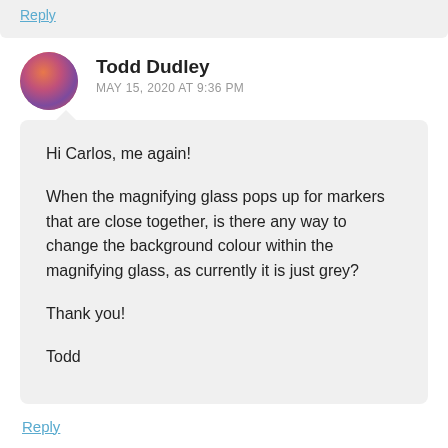Reply
Todd Dudley
MAY 15, 2020 AT 9:36 PM
Hi Carlos, me again!

When the magnifying glass pops up for markers that are close together, is there any way to change the background colour within the magnifying glass, as currently it is just grey?

Thank you!

Todd
Reply